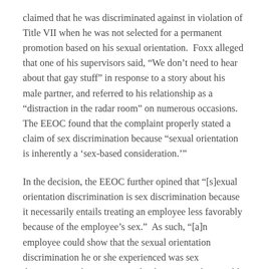claimed that he was discriminated against in violation of Title VII when he was not selected for a permanent promotion based on his sexual orientation. Foxx alleged that one of his supervisors said, “We don’t need to hear about that gay stuff” in response to a story about his male partner, and referred to his relationship as a “distraction in the radar room” on numerous occasions. The EEOC found that the complaint properly stated a claim of sex discrimination because “sexual orientation is inherently a ‘sex-based consideration.’”
In the decision, the EEOC further opined that “[s]exual orientation discrimination is sex discrimination because it necessarily entails treating an employee less favorably because of the employee’s sex.” As such, “[a]n employee could show that the sexual orientation discrimination he or she experienced was sex discrimination because it involved treatment that would not have occurred but for the individual’s sex; because it was based on the sex of